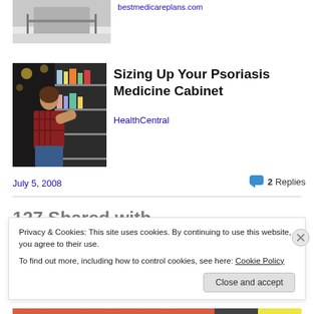bestmedicareplans.com
[Figure (photo): Partial view of a building exterior with railings and steps]
[Figure (photo): Woman crouching in a pharmacy/store aisle looking at products on shelves]
Sizing Up Your Psoriasis Medicine Cabinet
HealthCentral
July 5, 2008
2 Replies
Privacy & Cookies: This site uses cookies. By continuing to use this website, you agree to their use.
To find out more, including how to control cookies, see here: Cookie Policy
Close and accept